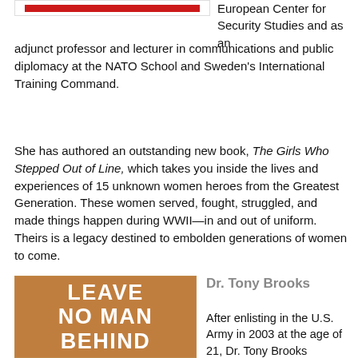[Figure (illustration): Red horizontal bar, partial top of book cover with red banner]
European Center for Security Studies and as an adjunct professor and lecturer in communications and public diplomacy at the NATO School and Sweden's International Training Command.
She has authored an outstanding new book, The Girls Who Stepped Out of Line, which takes you inside the lives and experiences of 15 unknown women heroes from the Greatest Generation. These women served, fought, struggled, and made things happen during WWII—in and out of uniform. Theirs is a legacy destined to embolden generations of women to come.
[Figure (illustration): Book cover for 'Leave No Man Behind' with tan/brown background and large white text]
Dr. Tony Brooks
After enlisting in the U.S. Army in 2003 at the age of 21, Dr. Tony Brooks attended and graduated